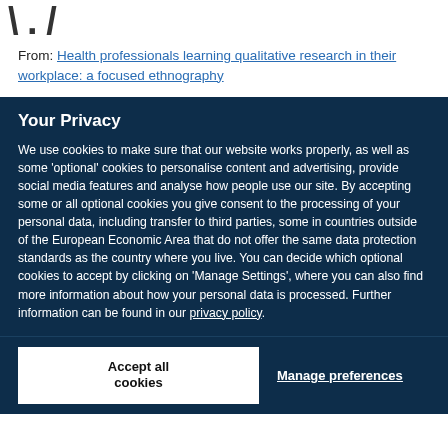From: Health professionals learning qualitative research in their workplace: a focused ethnography
Your Privacy
We use cookies to make sure that our website works properly, as well as some 'optional' cookies to personalise content and advertising, provide social media features and analyse how people use our site. By accepting some or all optional cookies you give consent to the processing of your personal data, including transfer to third parties, some in countries outside of the European Economic Area that do not offer the same data protection standards as the country where you live. You can decide which optional cookies to accept by clicking on 'Manage Settings', where you can also find more information about how your personal data is processed. Further information can be found in our privacy policy.
Accept all cookies
Manage preferences